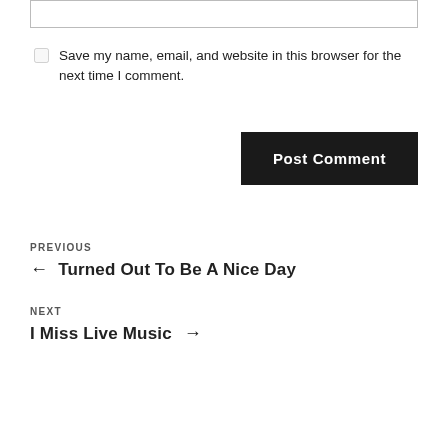[Figure (screenshot): A text input box with a border at the top of the page, part of a comment form.]
Save my name, email, and website in this browser for the next time I comment.
Post Comment
PREVIOUS
← Turned Out To Be A Nice Day
NEXT
I Miss Live Music →